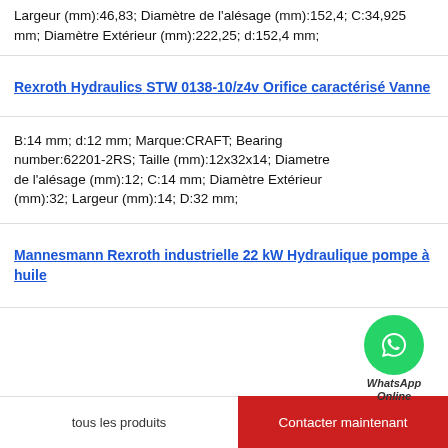Largeur (mm):46,83; Diamètre de l'alésage (mm):152,4; C:34,925 mm; Diamètre Extérieur (mm):222,25; d:152,4 mm;
Rexroth Hydraulics STW 0138-10/z4v Orifice caractérisé Vanne
B:14 mm; d:12 mm; Marque:CRAFT; Bearing number:62201-2RS; Taille (mm):12x32x14; Diametre de l'alésage (mm):12; C:14 mm; Diamètre Extérieur (mm):32; Largeur (mm):14; D:32 mm;
Mannesmann Rexroth industrielle 22 kW Hydraulique pompe à huile
tous les produits   Contacter maintenant